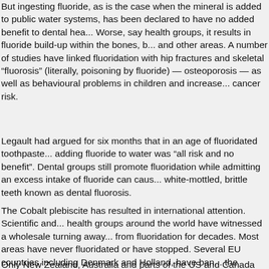But ingesting fluoride, as is the case when the mineral is added to public water systems, has been declared to have no added benefit to dental health. Worse, say health groups, it results in fluoride build-up within the bones, brain and other areas. A number of studies have linked fluoridation with hip fractures and skeletal "fluorosis" (literally, poisoning by fluoride) — osteoporosis — as well as behavioural problems in children and increased cancer risk.
Legault had argued for six months that in an age of fluoridated toothpaste, adding fluoride to water was "all risk and no benefit". Dental groups still promote fluoridation while admitting an excess intake of fluoride can cause white-mottled, brittle teeth known as dental fluorosis.
The Cobalt plebiscite has resulted in international attention. Scientific and health groups around the world have witnessed a wholesale turning away from fluoridation for decades. Most areas have never fluoridated or have stopped. Several EU countries including Denmark and Holland, have banned the practice altogether.
Only New Zealand, Australia and parts of the US and Canada still fluoridate public water. (Calgary, Ottawa and Toronto have reduced in recent years